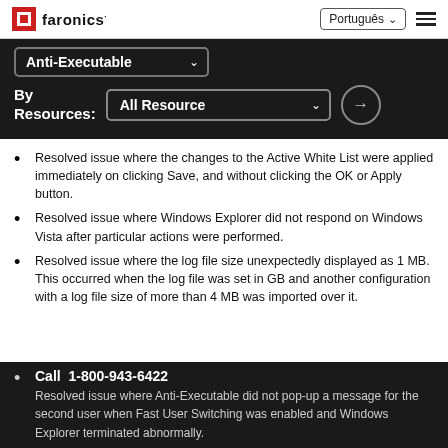Faronics | Português | menu
[Figure (screenshot): Navigation bar with Faronics logo, Português language selector, and hamburger menu icon]
Anti-Executable [dropdown] By Resources: All Resource [dropdown] [go button]
Resolved issue where the changes to the Active White List were applied immediately on clicking Save, and without clicking the OK or Apply button.
Resolved issue where Windows Explorer did not respond on Windows Vista after particular actions were performed.
Resolved issue where the log file size unexpectedly displayed as 1 MB. This occurred when the log file was set in GB and another configuration with a log file size of more than 4 MB was imported over it.
Resolved issue where Anti-Executable did not pop-up a message for the second user when Fast User [Switching was enabled] and Windows Explorer terminated abnormally.
Call 1-800-943-6422